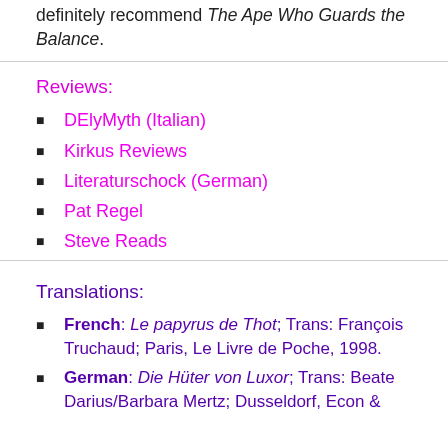definitely recommend The Ape Who Guards the Balance.
Reviews:
DElyMyth (Italian)
Kirkus Reviews
Literaturschock (German)
Pat Regel
Steve Reads
Translations:
French: Le papyrus de Thot; Trans: François Truchaud; Paris, Le Livre de Poche, 1998.
German: Die Hüter von Luxor; Trans: Beate Darius/Barbara Mertz; Dusseldorf, Econ &